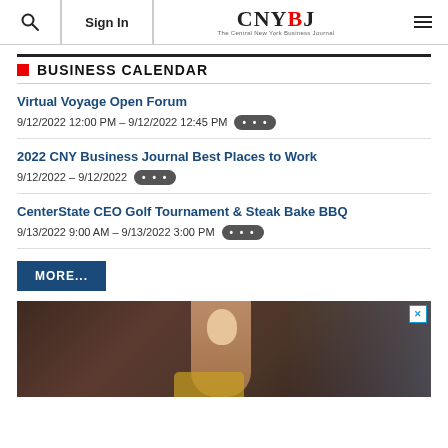Sign In | CNYBJ The Central New York Business Journal
BUSINESS CALENDAR
Virtual Voyage Open Forum
9/12/2022 12:00 PM - 9/12/2022 12:45 PM
2022 CNY Business Journal Best Places to Work
9/12/2022 - 9/12/2022
CenterState CEO Golf Tournament & Steak Bake BBQ
9/13/2022 9:00 AM - 9/13/2022 3:00 PM
MORE...
[Figure (photo): Advertisement photo showing a young girl with long blonde hair looking at the camera, dimly lit room background]